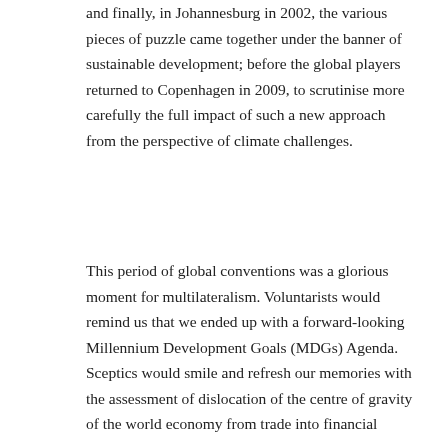and finally, in Johannesburg in 2002, the various pieces of puzzle came together under the banner of sustainable development; before the global players returned to Copenhagen in 2009, to scrutinise more carefully the full impact of such a new approach from the perspective of climate challenges.
This period of global conventions was a glorious moment for multilateralism. Voluntarists would remind us that we ended up with a forward-looking Millennium Development Goals (MDGs) Agenda. Sceptics would smile and refresh our memories with the assessment of dislocation of the centre of gravity of the world economy from trade into financial